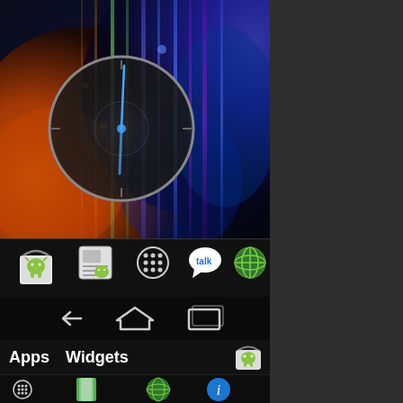[Figure (screenshot): Android ICS homescreen showing a colorful wallpaper with orange/amber gradient on left, blue/purple gradient on right, and a circular analog clock widget in the upper left area]
[Figure (screenshot): Android taskbar with 5 app icons: Market/Play Store (bag with Android robot), a photo/media icon, Apps grid button (dotted circle), Google Talk (speech bubble with 'talk'), and Browser (green Earth globe)]
[Figure (screenshot): Android navigation bar showing back arrow, home (house outline), and recent apps (rectangle outline) buttons]
Apps   Widgets
[Figure (screenshot): Bottom strip showing 4 app icons: Apps grid (dotted circle), Play Books (colorful book), Browser (Earth globe), and Info/About (blue circle with i)]